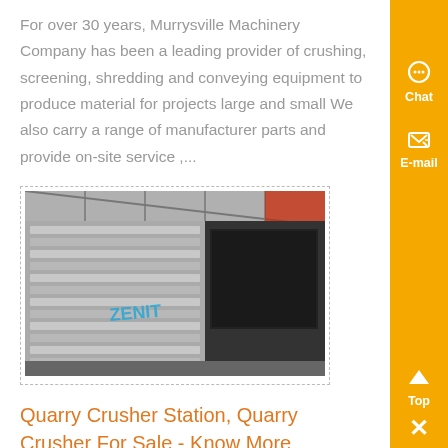For over 30 years, Murrysville Machinery Company has been a leading provider of crushing, screening, shredding and conveying equipment to produce material for projects large and small We also carry a range of manufacturer parts and provide on-site service ,...
[Figure (photo): Photo of industrial machinery/crusher equipment with ZENIT branding, shown indoors in a warehouse or factory setting. The machine has metallic surfaces with ridged panels.]
Quarry Crusher Station, Quarry Crusher For Sale - Know More
Hot Products For Sale Zenith manufacturers supply the most efficient sand making machine, vertical roller mill, mobile crusher, quarry crusher, raymond mill More